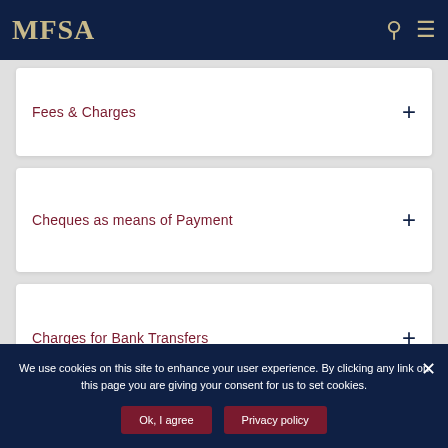MFSA
Fees & Charges
Cheques as means of Payment
Charges for Bank Transfers
We use cookies on this site to enhance your user experience. By clicking any link on this page you are giving your consent for us to set cookies.